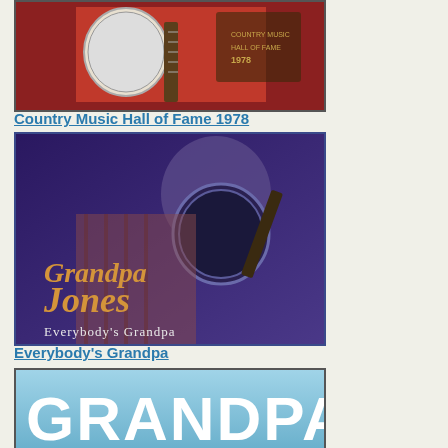[Figure (photo): Album cover – Country Music Hall of Fame 1978, showing a banjo against a red background]
Country Music Hall of Fame 1978
[Figure (photo): Album cover – Grandpa Jones: Everybody's Grandpa, man playing banjo in purple-toned photo with orange/gold text]
Everybody's Grandpa
[Figure (photo): Partial album cover – showing the text GRANDPA on a blue/light background, bottom of page]